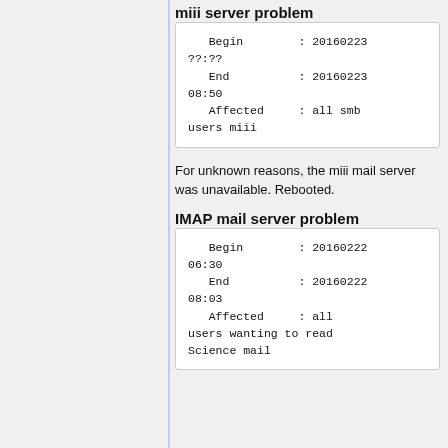miii server problem
| Begin | : 20160223 ??:?? |
| End | : 20160223 08:50 |
| Affected | : all smb users miii |
For unknown reasons, the miii mail server was unavailable. Rebooted.
IMAP mail server problem
| Begin | : 20160222 06:30 |
| End | : 20160222 08:03 |
| Affected | : all users wanting to read Science mail |